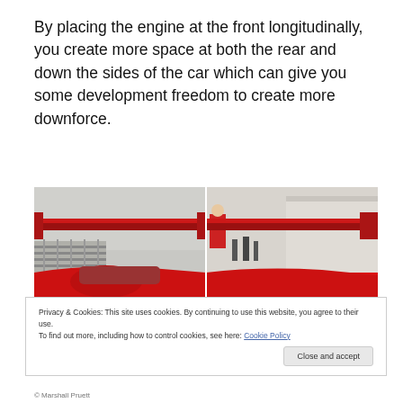By placing the engine at the front longitudinally, you create more space at both the rear and down the sides of the car which can give you some development freedom to create more downforce.
[Figure (photo): Rear view of a red open-wheel racing car (likely a prototype or formula car) showing large rear wing, photographed at what appears to be a race circuit paddock. Image split into two panels.]
Privacy & Cookies: This site uses cookies. By continuing to use this website, you agree to their use.
To find out more, including how to control cookies, see here: Cookie Policy
Close and accept
© Marshall Pruett